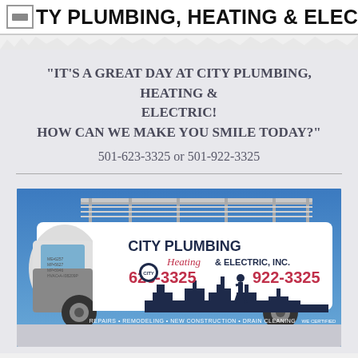CITY PLUMBING, HEATING & ELECTRIC, INC.
"IT'S A GREAT DAY AT CITY PLUMBING, HEATING & ELECTRIC!
HOW CAN WE MAKE YOU SMILE TODAY?"
501-623-3325 or 501-922-3325
[Figure (photo): White service van with City Plumbing Heating & Electric, Inc. branding, showing phone numbers 623-3325 and 922-3325, with ladder rack on top and city skyline silhouette on sides. Text: REPAIRS • REMODELING • NEW CONSTRUCTION • DRAIN CLEANING]